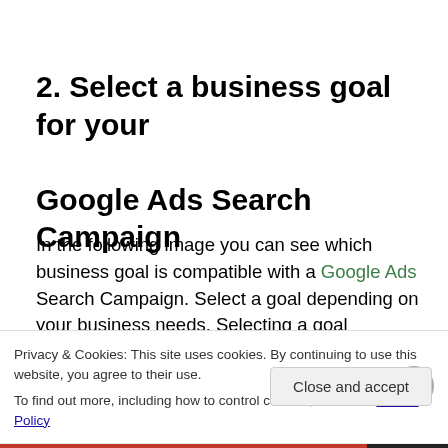2. Select a business goal for your Google Ads Search Campaign
In the following image you can see which business goal is compatible with a Google Ads Search Campaign. Select a goal depending on your business needs. Selecting a goal
Privacy & Cookies: This site uses cookies. By continuing to use this website, you agree to their use.
To find out more, including how to control cookies, see here: Cookie Policy
Close and accept